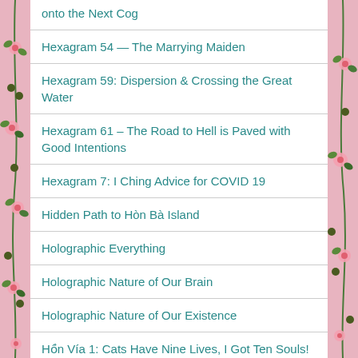onto the Next Cog
Hexagram 54 — The Marrying Maiden
Hexagram 59: Dispersion & Crossing the Great Water
Hexagram 61 – The Road to Hell is Paved with Good Intentions
Hexagram 7: I Ching Advice for COVID 19
Hidden Path to Hòn Bà Island
Holographic Everything
Holographic Nature of Our Brain
Holographic Nature of Our Existence
Hồn Vía 1: Cats Have Nine Lives, I Got Ten Souls!